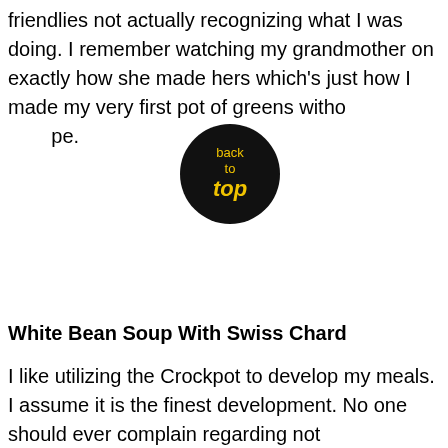friendlies not actually recognizing what I was doing. I remember watching my grandmother on exactly how she made hers which's just how I made my very first pot of greens witho[back to top]pe.
[Figure (illustration): A circular black button/badge with yellow text reading 'back to top' in three lines, with 'top' in bold italic.]
White Bean Soup With Swiss Chard
I like utilizing the Crockpot to develop my meals. I assume it is the finest development. No one should ever complain regarding not understanding exactly how to place together a healthy or not so healthy and balanced delicious one pot meal.
Crockpot High Protein Recipe
We hear it day-to-day from our Personal Fitness instructors or